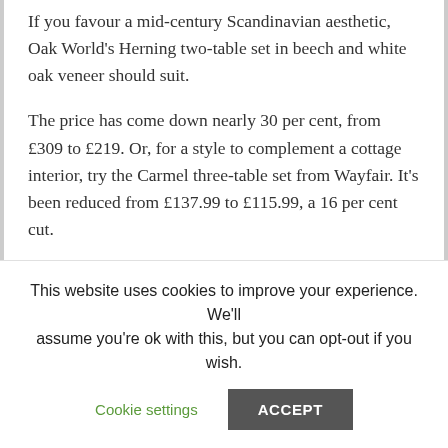If you favour a mid-century Scandinavian aesthetic, Oak World's Herning two-table set in beech and white oak veneer should suit.
The price has come down nearly 30 per cent, from £309 to £219. Or, for a style to complement a cottage interior, try the Carmel three-table set from Wayfair. It's been reduced from £137.99 to £115.99, a 16 per cent cut.
Ercol Windsor's nest of tables has been reduced from £1,335 to £1,059 at Furniture Village.
That may not seem much of a bargain, but this
This website uses cookies to improve your experience. We'll assume you're ok with this, but you can opt-out if you wish.